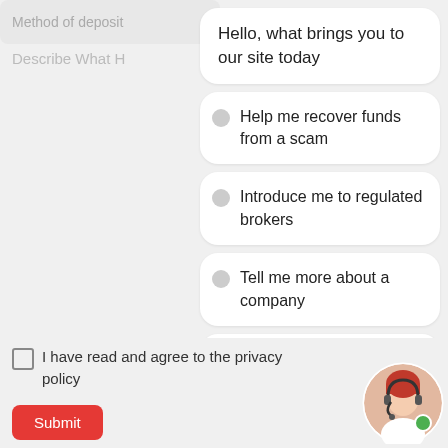Method of deposit
Describe What H
Hello, what brings you to our site today
Help me recover funds from a scam
Introduce me to regulated brokers
Tell me more about a company
Teach me winning tactics and strategies
I have read and agree to the privacy policy
[Figure (photo): Customer service agent avatar with headset and green online indicator dot]